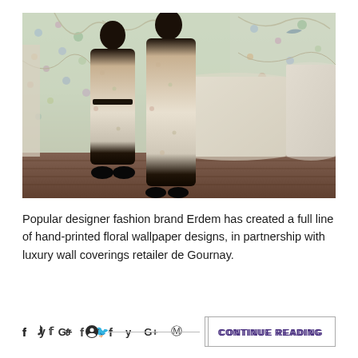[Figure (photo): Two Black female models standing in floral dresses against a room with ornate floral wallpaper. The room has furniture covered with white/cream draped sheets. The models wear light-colored floral print dresses; one shorter dress with a black belt, one long flowing dress. Dark wooden floor visible.]
Popular designer fashion brand Erdem has created a full line of hand-printed floral wallpaper designs, in partnership with luxury wall coverings retailer de Gournay.